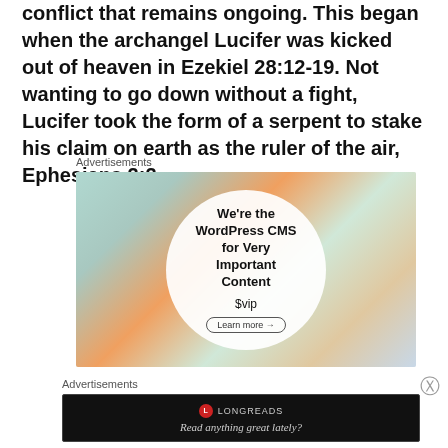conflict that remains ongoing. This began when the archangel Lucifer was kicked out of heaven in Ezekiel 28:12-19. Not wanting to go down without a fight, Lucifer took the form of a serpent to stake his claim on earth as the ruler of the air, Ephesians 2:2.
Advertisements
[Figure (screenshot): WordPress VIP advertisement showing colorful book/magazine covers in background with a white circle overlay containing text: We're the WordPress CMS for Very Important Content, WordPress VIP logo, and Learn more button]
Advertisements
[Figure (screenshot): Longreads advertisement on black background with red circle L logo and text: Read anything great lately?]